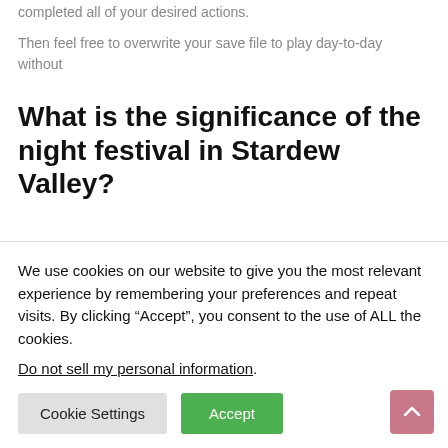completed all of your desired actions.
Then feel free to overwrite your save file to play day-to-day without
What is the significance of the night festival in Stardew Valley?
The Night festival is the one day where you can get all of your villagers in one place at once. This makes it a great opportunity for you to learn
We use cookies on our website to give you the most relevant experience by remembering your preferences and repeat visits. By clicking “Accept”, you consent to the use of ALL the cookies.
Do not sell my personal information.